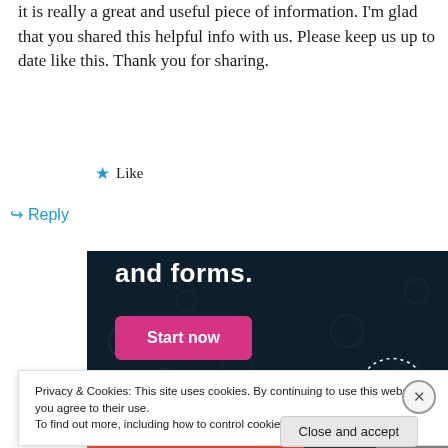it is really a great and useful piece of information. I'm glad that you shared this helpful info with us. Please keep us up to date like this. Thank you for sharing.
★ Like
↪ Reply
[Figure (screenshot): Dark navy advertisement banner with bold white text 'and forms.' and a pink 'Start now' button, with a circular CROWD logo in the bottom right corner]
Privacy & Cookies: This site uses cookies. By continuing to use this website, you agree to their use.
To find out more, including how to control cookies, see here: Cookie Policy
Close and accept